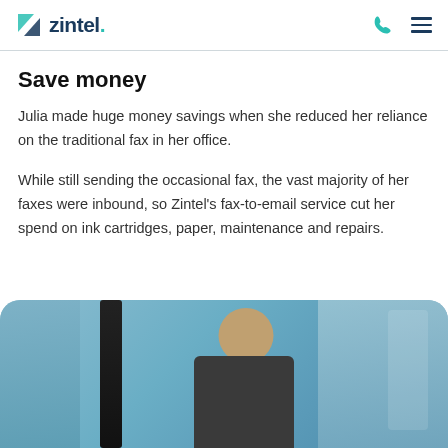zintel.
Save money
Julia made huge money savings when she reduced her reliance on the traditional fax in her office.
While still sending the occasional fax, the vast majority of her faxes were inbound, so Zintel's fax-to-email service cut her spend on ink cartridges, paper, maintenance and repairs.
[Figure (photo): A man in a business setting, viewed from above, with a dark vertical object on the left and glass/office background.]